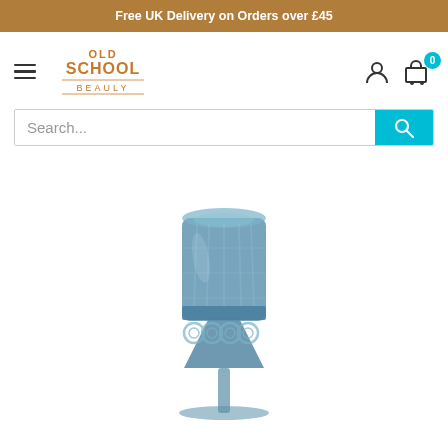Free UK Delivery on Orders over £45
[Figure (logo): Old School Beauly logo in orange text]
Search...
[Figure (photo): Blue vintage-style pressed glass wine goblet with circular embossed pattern around the midsection, photographed on white background]